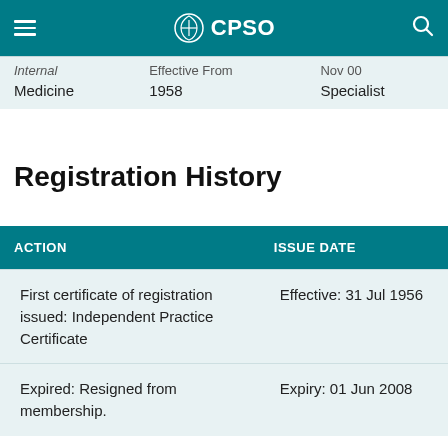CPSO
|  |  |  |
| --- | --- | --- |
| Internal | Effective From | Nov 00 |
| Medicine | 1958 | Specialist |
Registration History
| ACTION | ISSUE DATE |
| --- | --- |
| First certificate of registration issued: Independent Practice Certificate | Effective: 31 Jul 1956 |
| Expired: Resigned from membership. | Expiry: 01 Jun 2008 |